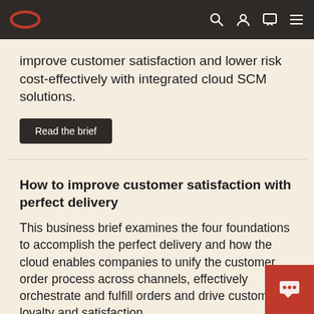Oracle navigation bar with logo and icons
improve customer satisfaction and lower risk cost-effectively with integrated cloud SCM solutions.
Read the brief
How to improve customer satisfaction with perfect delivery
This business brief examines the four foundations to accomplish the perfect delivery and how the cloud enables companies to unify the customer order process across channels, effectively orchestrate and fulfill orders and drive customer loyalty and satisfaction.
View the POV brief